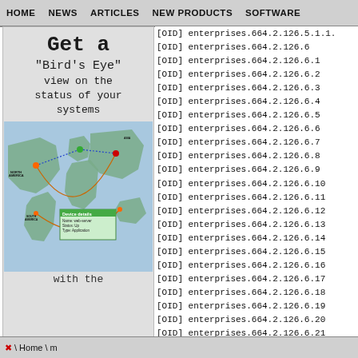HOME  NEWS  ARTICLES  NEW PRODUCTS  SOFTWARE
[Figure (illustration): Advertisement image: 'Get a Bird's Eye view on the status of your systems with the' — shown with a world map network monitoring illustration]
[OID] enterprises.664.2.126.5.1.1.
[OID] enterprises.664.2.126.6
[OID] enterprises.664.2.126.6.1
[OID] enterprises.664.2.126.6.2
[OID] enterprises.664.2.126.6.3
[OID] enterprises.664.2.126.6.4
[OID] enterprises.664.2.126.6.5
[OID] enterprises.664.2.126.6.6
[OID] enterprises.664.2.126.6.7
[OID] enterprises.664.2.126.6.8
[OID] enterprises.664.2.126.6.9
[OID] enterprises.664.2.126.6.10
[OID] enterprises.664.2.126.6.11
[OID] enterprises.664.2.126.6.12
[OID] enterprises.664.2.126.6.13
[OID] enterprises.664.2.126.6.14
[OID] enterprises.664.2.126.6.15
[OID] enterprises.664.2.126.6.16
[OID] enterprises.664.2.126.6.17
[OID] enterprises.664.2.126.6.18
[OID] enterprises.664.2.126.6.19
[OID] enterprises.664.2.126.6.20
[OID] enterprises.664.2.126.6.21
[OID] enterprises.664.2.126.6.22
[OID] enterprises.664.2.126.6.23
\  Home \ m